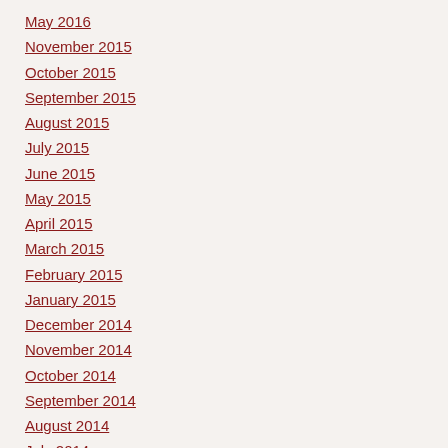May 2016
November 2015
October 2015
September 2015
August 2015
July 2015
June 2015
May 2015
April 2015
March 2015
February 2015
January 2015
December 2014
November 2014
October 2014
September 2014
August 2014
July 2014
June 2014